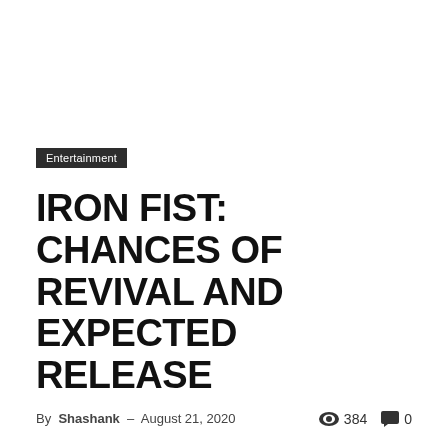Entertainment
IRON FIST: CHANCES OF REVIVAL AND EXPECTED RELEASE
By Shashank - August 21, 2020   384   0